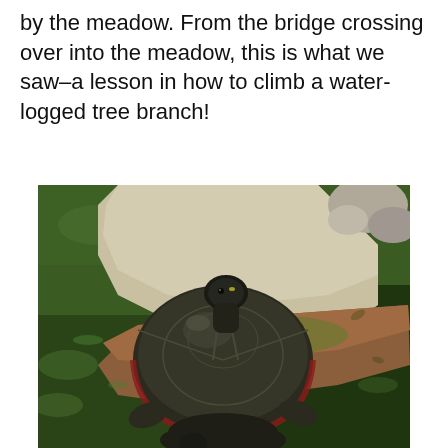by the meadow. From the bridge crossing over into the meadow, this is what we saw–a lesson in how to climb a water-logged tree branch!
[Figure (photo): A painted turtle climbing a water-logged tree branch in a green algae-covered pond, with another turtle visible below.]